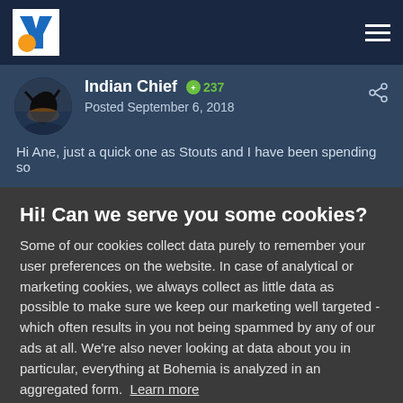Navigation bar with logo and hamburger menu
Indian Chief  237
Posted September 6, 2018
Hi Ane, just a quick one as Stouts and I have been spending so
Hi! Can we serve you some cookies?
Some of our cookies collect data purely to remember your user preferences on the website. In case of analytical or marketing cookies, we always collect as little data as possible to make sure we keep our marketing well targeted - which often results in you not being spammed by any of our ads at all. We're also never looking at data about you in particular, everything at Bohemia is analyzed in an aggregated form. Learn more
Allow all cookies
I want more options